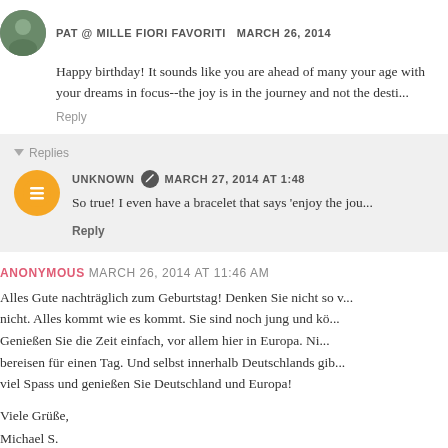PAT @ MILLE FIORI FAVORITI  MARCH 26, 2014
Happy birthday! It sounds like you are ahead of many your age with your dreams in focus--the joy is in the journey and not the desti...
Reply
▾  Replies
UNKNOWN  MARCH 27, 2014 AT 1:48
So true! I even have a bracelet that says 'enjoy the jou...
Reply
ANONYMOUS  MARCH 26, 2014 AT 11:46 AM
Alles Gute nachträglich zum Geburtstag! Denken Sie nicht so v... nicht. Alles kommt wie es kommt. Sie sind noch jung und kö... Genießen Sie die Zeit einfach, vor allem hier in Europa. Ni... bereisen für einen Tag. Und selbst innerhalb Deutschlands gib... viel Spass und genießen Sie Deutschland und Europa!
Viele Grüße,
Michael S.